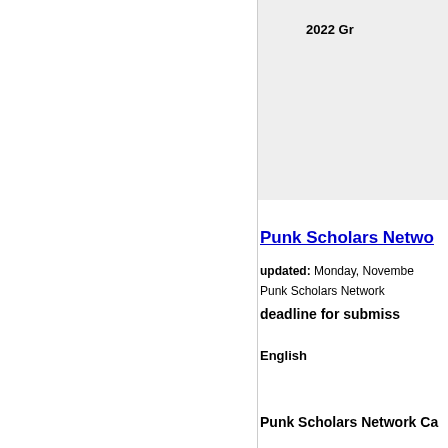2022 Gr
Punk Scholars Netwo
updated: Monday, Novembe
Punk Scholars Network
deadline for submiss
English
Punk Scholars Network Ca